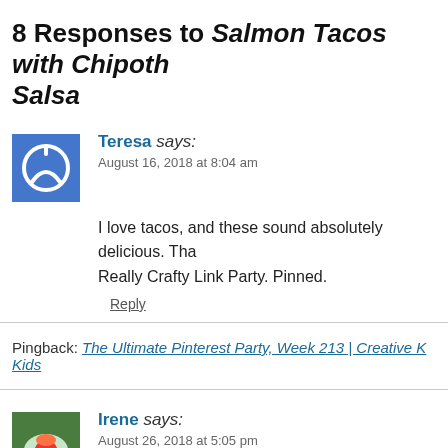8 Responses to Salmon Tacos with Chipotle Salsa
Teresa says: August 16, 2018 at 8:04 am
I love tacos, and these sound absolutely delicious. Thank you for sharing at the Really Crafty Link Party. Pinned.
Reply
Pingback: The Ultimate Pinterest Party, Week 213 | Creative K Kids
Irene says: August 26, 2018 at 5:05 pm
I love fish tacos, and I particularly liked how you used Greek yogurt to add a twist in flavour, and with less calories than cream!